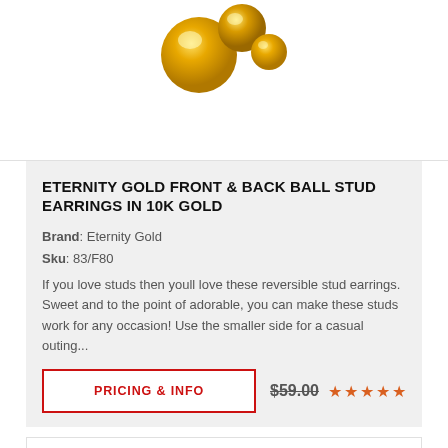[Figure (photo): Partial view of gold ball stud earrings on white background, cropped at top]
ETERNITY GOLD FRONT & BACK BALL STUD EARRINGS IN 10K GOLD
Brand: Eternity Gold
Sku: 83/F80
If you love studs then youll love these reversible stud earrings. Sweet and to the point of adorable, you can make these studs work for any occasion! Use the smaller side for a casual outing...
PRICING & INFO
$59.00 ★★★★★
[Figure (photo): Partial view of gold jewelry item at bottom of page, cropped]